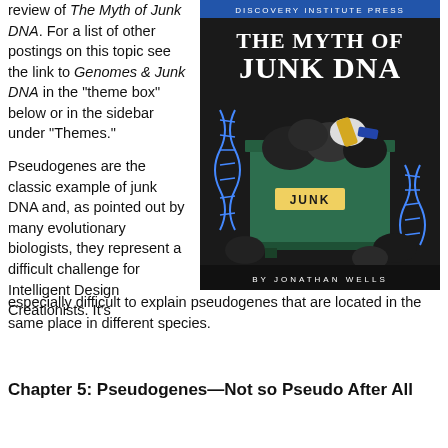review of The Myth of Junk DNA. For a list of other postings on this topic see the link to Genomes & Junk DNA in the "theme box" below or in the sidebar under "Themes."
[Figure (illustration): Book cover of 'The Myth of Junk DNA' by Jonathan Wells, published by Discovery Institute Press. Shows a green dumpster labeled JUNK filled with trash bags, with DNA double helix graphics around it.]
Pseudogenes are the classic example of junk DNA and, as pointed out by many evolutionary biologists, they represent a difficult challenge for Intelligent Design Creationists. It's especially difficult to explain pseudogenes that are located in the same place in different species.
Chapter 5: Pseudogenes—Not so Pseudo After All